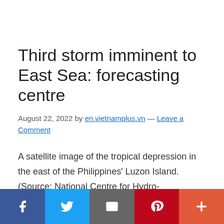Third storm imminent to East Sea: forecasting centre
August 22, 2022 by en.vietnamplus.vn — Leave a Comment
A satellite image of the tropical depression in the east of the Philippines' Luzon Island. (Source: National Centre for Hydro-Meteorological Forecasting) Hanoi (VNA) – The East Sea is likely to